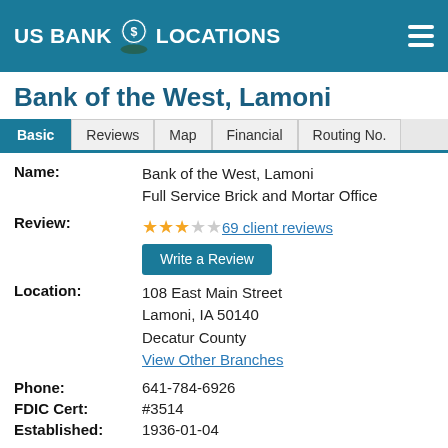US Bank Locations
Bank of the West, Lamoni
Basic | Reviews | Map | Financial | Routing No.
Name: Bank of the West, Lamoni Full Service Brick and Mortar Office
Review: ★★★☆☆ 69 client reviews | Write a Review
Location: 108 East Main Street Lamoni, IA 50140 Decatur County View Other Branches
Phone: 641-784-6926
FDIC Cert: #3514
Established: 1936-01-04